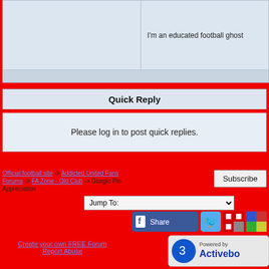|  | I'm an educated football ghost |
| --- | --- |
|  |
Quick Reply
Please log in to post quick replies.
Official football site -> Addicted United Fans
Forums -> FA Zone - Old Club -> Giorgio Pin Appreciation
Subscribe
Jump To:
[Figure (other): Facebook Share button and social media icons (Twitter, Digg, Del.icio.us)]
Create your own FREE Forum
Report Abuse
[Figure (logo): Powered by Activeboard logo]